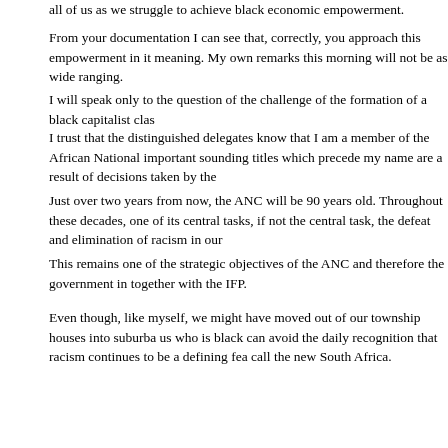all of us as we struggle to achieve black economic empowerment.
From your documentation I can see that, correctly, you approach this empowerment in it meaning. My own remarks this morning will not be as wide ranging.
I will speak only to the question of the challenge of the formation of a black capitalist clas
I trust that the distinguished delegates know that I am a member of the African National important sounding titles which precede my name are a result of decisions taken by the
Just over two years from now, the ANC will be 90 years old. Throughout these decades, one of its central tasks, if not the central task, the defeat and elimination of racism in our
This remains one of the strategic objectives of the ANC and therefore the government in together with the IFP.
Even though, like myself, we might have moved out of our township houses into suburba us who is black can avoid the daily recognition that racism continues to be a defining fea call the new South Africa.
Consequently, as I stand here, one of the things I must say is that -because racism lives. The distinguished delegates will remember that at some point during the life of our first d there was much ado about when the ANC might transform itself from a liberation movem
As so often happens in our country, because this seemed to be a clever thought, it beca that each time anyone of us appeared in public, the clever people, or those who thought ask - when will you transform yourselves into a party! Personally, I never understood wha occasioned this question.
Frankly, I still do not understand both why the clever people thought they should pose th any case, the question means.
To explain this, I have had to come to the conclusion that clearly, I cannot count myself a of South Africa.
Being less than clever, I would have assumed that the ANC would change its character o its historic mission - once the purposes for which it had been established had been acco
Because racism lives, the struggle continues! Because of that, the ANC must remain w